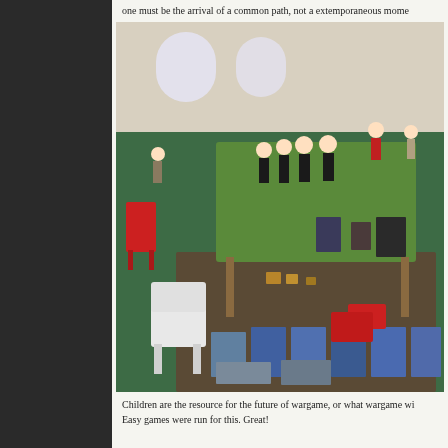one must be the arrival of a common path, not a extemporaneous mome
[Figure (photo): Indoor wargaming convention scene. People in black shirts gathered around a green felt game table with miniatures. Additional tables with terrain pieces, miniature models, boxed games, and packaged miniatures in the foreground. White plastic chairs visible. Large hall with green carpet.]
Children are the resource for the future of wargame, or what wargame wi Easy games were run for this. Great!